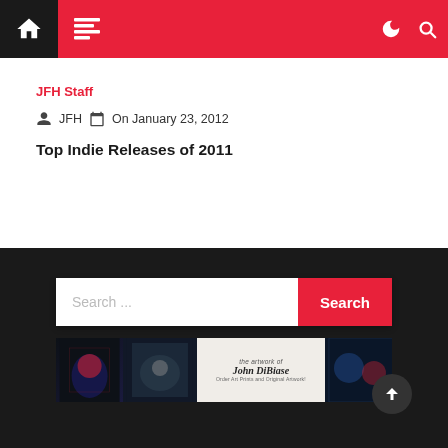JFH website navigation bar
JFH Staff
JFH   On January 23, 2012
Top Indie Releases of 2011
[Figure (screenshot): Search bar with placeholder text 'Search ...' and a red Search button]
[Figure (photo): Advertisement banner for 'the artwork of John DiBiase' with movie-themed artwork panels and text 'Order Art Prints and Original Artwork!']